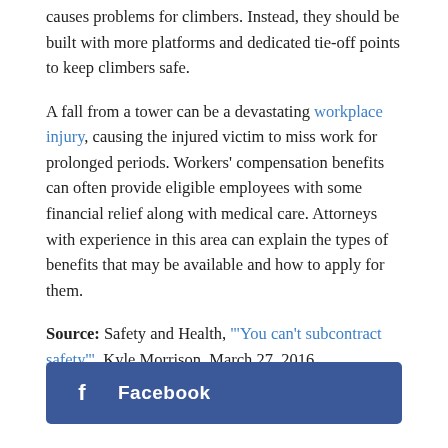cell towers are encumbered with equipment, which causes problems for climbers. Instead, they should be built with more platforms and dedicated tie-off points to keep climbers safe.
A fall from a tower can be a devastating workplace injury, causing the injured victim to miss work for prolonged periods. Workers' compensation benefits can often provide eligible employees with some financial relief along with medical care. Attorneys with experience in this area can explain the types of benefits that may be available and how to apply for them.
Source: Safety and Health, "'You can't subcontract safety'", Kyle Morrison, March 27, 2016
[Figure (other): Facebook share button with Facebook icon and label]